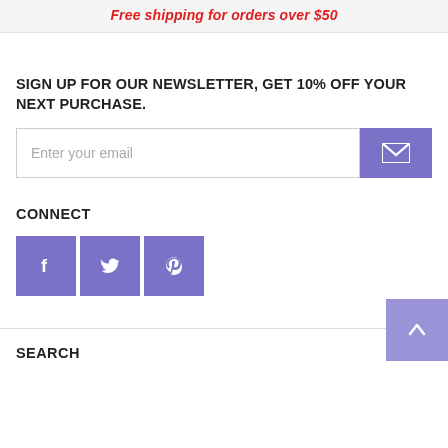Free shipping for orders over $50
SIGN UP FOR OUR NEWSLETTER, GET 10% OFF YOUR NEXT PURCHASE.
Enter your email
CONNECT
[Figure (infographic): Three social media icon buttons for Facebook, Twitter, and Pinterest in purple/violet color]
SEARCH